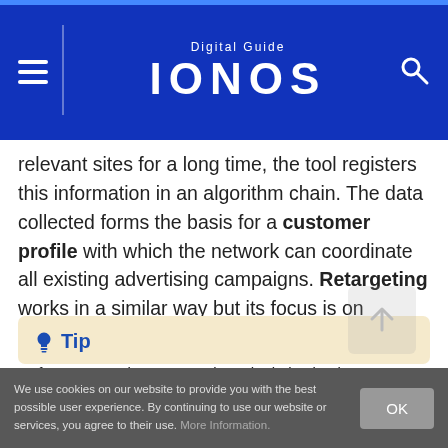Digital Guide IONOS
relevant sites for a long time, the tool registers this information in an algorithm chain. The data collected forms the basis for a customer profile with which the network can coordinate all existing advertising campaigns. Retargeting works in a similar way but its focus is on winning customers back.
Tip
If you want to know more about the behavioral targeting method, read our article on behavioral targeting.
We use cookies on our website to provide you with the best possible user experience. By continuing to use our website or services, you agree to their use. More Information.